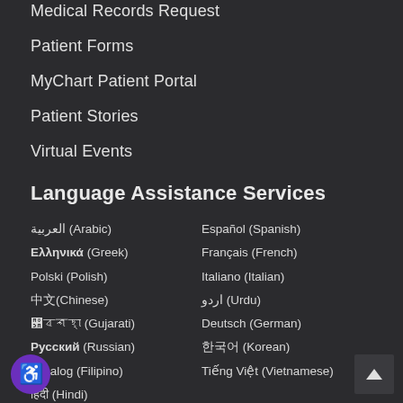Medical Records Request
Patient Forms
MyChart Patient Portal
Patient Stories
Virtual Events
Language Assistance Services
العربية (Arabic)
Español (Spanish)
Ελληνικά (Greek)
Français (French)
Polski (Polish)
Italiano (Italian)
中文(Chinese)
اردو (Urdu)
ગુજરાતી (Gujarati)
Deutsch (German)
Русский (Russian)
한국어 (Korean)
Tagalog (Filipino)
Tiếng Việt (Vietnamese)
हिंदी (Hindi)
View this website in
Select Language